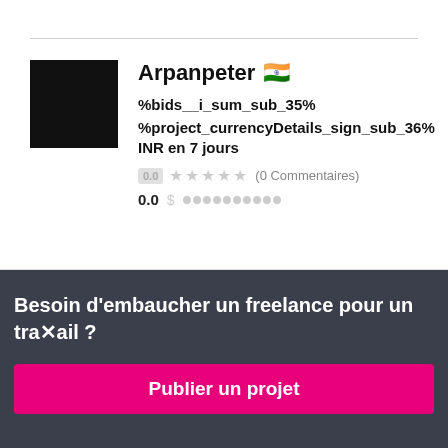[Figure (photo): Black square avatar/profile image for user Arpanpeter]
Arpanpeter 🇮🇳
%bids__i_sum_sub_35%
%project_currencyDetails_sign_sub_36%INR en 7 jours
0.0 ★★★★★ (0 Commentaires)
0.0 $ ●●●●●●●●●●
Besoin d'embaucher un freelance pour un travail ?
Publier un projet